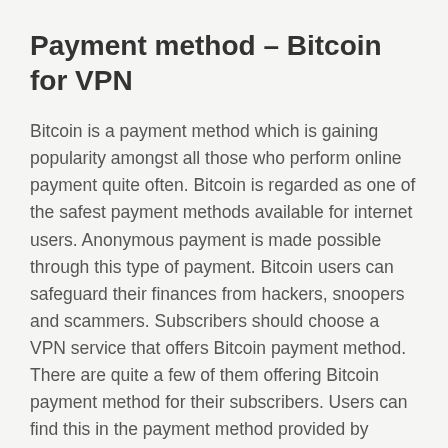Payment method – Bitcoin for VPN
Bitcoin is a payment method which is gaining popularity amongst all those who perform online payment quite often. Bitcoin is regarded as one of the safest payment methods available for internet users. Anonymous payment is made possible through this type of payment. Bitcoin users can safeguard their finances from hackers, snoopers and scammers. Subscribers should choose a VPN service that offers Bitcoin payment method. There are quite a few of them offering Bitcoin payment method for their subscribers. Users can find this in the payment method provided by service providers.
Popular and highly rated VPN service providers seem to be offering all the different types of payment methods that are available. Credit card or debit card